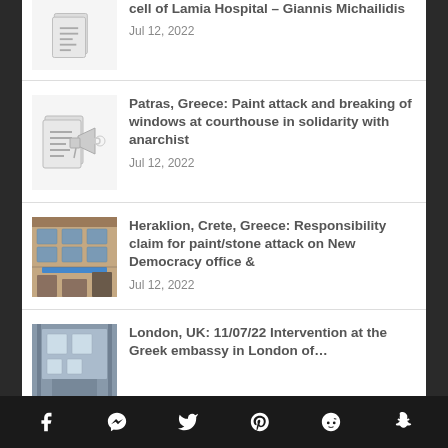cell of Lamia Hospital – Giannis Michailidis
Jul 12, 2022
Patras, Greece: Paint attack and breaking of windows at courthouse in solidarity with anarchist
Jul 12, 2022
Heraklion, Crete, Greece: Responsibility claim for paint/stone attack on New Democracy office &
Jul 12, 2022
London, UK: 11/07/22 Intervention at the Greek embassy in London of…
Facebook | Messenger | Twitter | Pinterest | Reddit | Snapchat